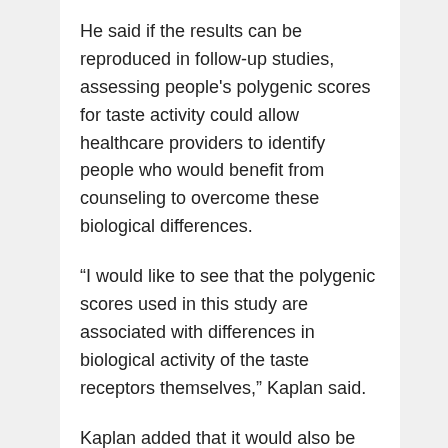He said if the results can be reproduced in follow-up studies, assessing people's polygenic scores for taste activity could allow healthcare providers to identify people who would benefit from counseling to overcome these biological differences.
“I would like to see that the polygenic scores used in this study are associated with differences in biological activity of the taste receptors themselves,” Kaplan said.
Kaplan added that it would also be helpful to see these findings reproduced in other populations, and whether “the apparent biological differences in food preferences